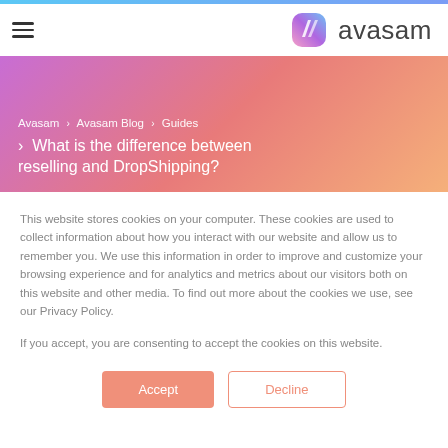Avasam logo header with hamburger menu
[Figure (logo): Avasam logo with colorful diamond/shield icon and 'avasam' wordmark]
Avasam > Avasam Blog > Guides > What is the difference between reselling and DropShipping?
This website stores cookies on your computer. These cookies are used to collect information about how you interact with our website and allow us to remember you. We use this information in order to improve and customize your browsing experience and for analytics and metrics about our visitors both on this website and other media. To find out more about the cookies we use, see our Privacy Policy.
If you accept, you are consenting to accept the cookies on this website.